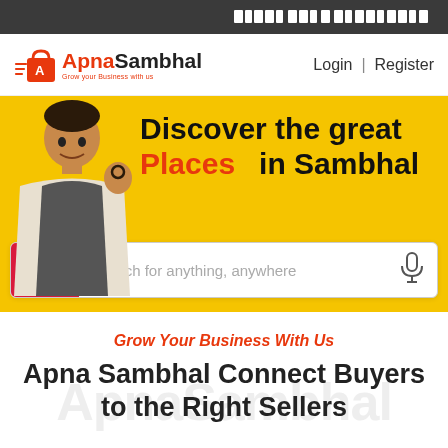Hindi text (Devanagari) in top bar
[Figure (logo): ApnaSambhal logo with shopping bag icon in red/orange. Text reads 'Apna Sambhal' with tagline below.]
Login | Register
[Figure (photo): Yellow banner with a man smiling and making an OK gesture, wearing a white shawl. Large bold text: 'Discover the great Places in Sambhal'. Search bar below with red search icon button, placeholder text 'Search for anything, anywhere' and microphone icon.]
Grow Your Business With Us
Apna Sambhal Connect Buyers to the Right Sellers